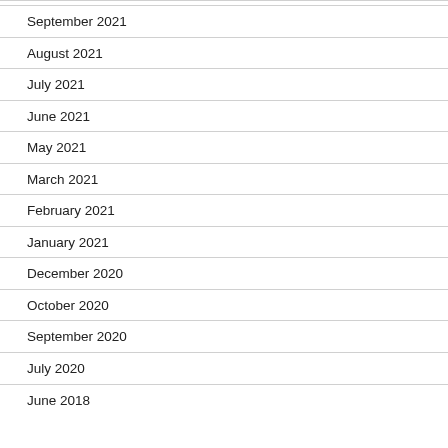September 2021
August 2021
July 2021
June 2021
May 2021
March 2021
February 2021
January 2021
December 2020
October 2020
September 2020
July 2020
June 2018